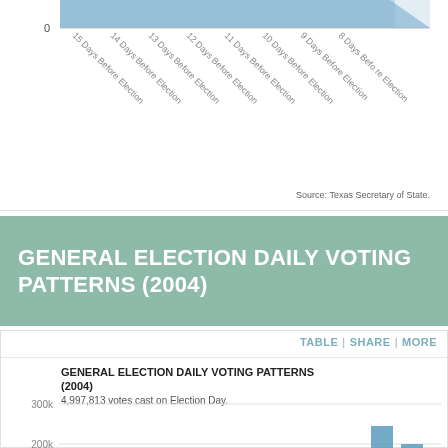[Figure (continuous-plot): Top portion of a line/area chart showing early voting patterns, x-axis labels from 15 Days Before Election to 8 Days Before Election, y-axis shows 0, with a downward sloping blue area/line from top-left to bottom-right]
Source: Texas Secretary of State.
GENERAL ELECTION DAILY VOTING PATTERNS (2004)
GENERAL ELECTION DAILY VOTING PATTERNS (2004)
4,997,813 votes cast on Election Day.
[Figure (bar-chart): Partial bar chart showing early voting counts by day, y-axis labels 300k and 200k visible, blue bars visible at bottom right]